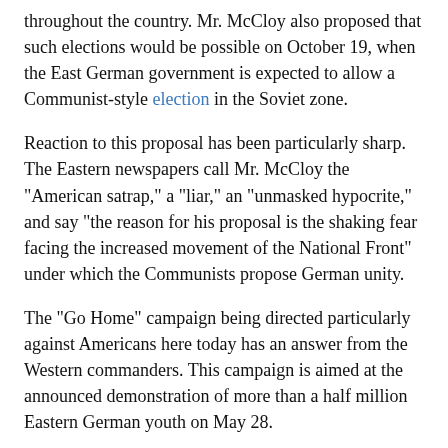throughout the country. Mr. McCloy also proposed that such elections would be possible on October 19, when the East German government is expected to allow a Communist-style election in the Soviet zone.
Reaction to this proposal has been particularly sharp. The Eastern newspapers call Mr. McCloy the "American satrap," a "liar," an "unmasked hypocrite," and say "the reason for his proposal is the shaking fear facing the increased movement of the National Front" under which the Communists propose German unity.
The "Go Home" campaign being directed particularly against Americans here today has an answer from the Western commanders. This campaign is aimed at the announced demonstration of more than a half million Eastern German youth on May 28.
This march, labeled the Deutschlandtreffen, is called "a transparent attempt to exploit German youth for Communist ends." General Maxwell Taylor and his colleagues endorsed a statement by Berlin's mayor